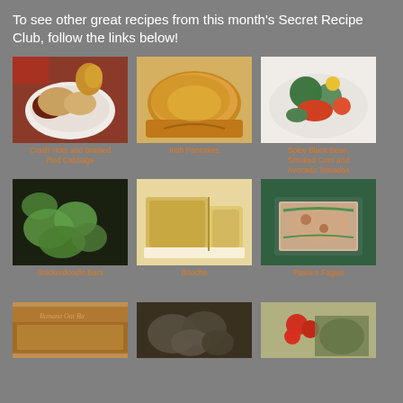To see other great recipes from this month's Secret Recipe Club, follow the links below!
[Figure (photo): Crash Hots and Braised Red Cabbage - a plate with roasted potatoes and braised red cabbage]
Crash Hots and Braised Red Cabbage
[Figure (photo): Irish Pancakes - a golden flat pancake on a plate]
Irish Pancakes
[Figure (photo): Spicy Black Bean, Smoked Corn and Avocado Tostadas - colorful tostada with vegetables on white plate]
Spicy Black Bean, Smoked Corn and Avocado Tostadas
[Figure (photo): Snickerdoodle Bars - green-tinted cookie bars on dark background]
Snickerdoodle Bars
[Figure (photo): Brioche - sliced golden brioche bread loaf on white plate]
Brioche
[Figure (photo): Pasta e Fagioli - bean and pasta soup served in banana leaf bowl]
Pasta e Fagioli
[Figure (photo): Banana Oat Bar - partially visible bar with oats]
[Figure (photo): Roasted vegetables dish partially visible]
[Figure (photo): Tomato and pesto dish partially visible]